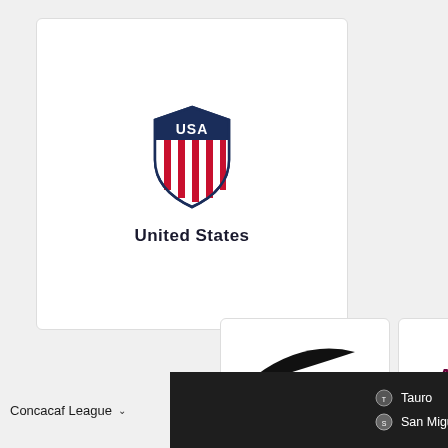[Figure (logo): USA Soccer crest logo — shield shape with USA text and red vertical stripes, in navy and red colors]
United States
[Figure (logo): Nike swoosh logo in black]
[Figure (logo): Qatar Airways logo in dark maroon/crimson text]
Concacaf League
Tauro
San Miguelito
08/23 10:00 pm